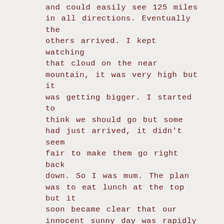and could easily see 125 miles in all directions. Eventually the others arrived. I kept watching that cloud on the near mountain, it was very high but it was getting bigger. I started to think we should go but some had just arrived, it didn't seem fair to make them go right back down. So I was mum. The plan was to eat lunch at the top but it soon became clear that our innocent sunny day was rapidly becoming ominous. It was definitely time to leave. A couple of people had wisely already made that decision on their own and were plunging downhill.